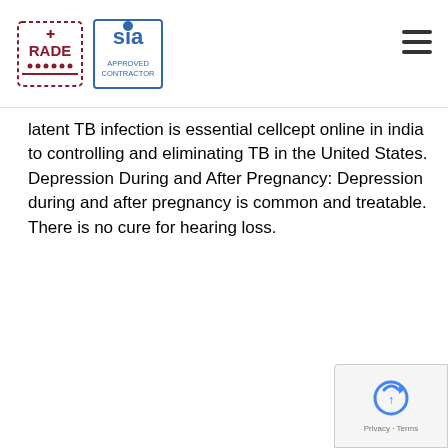RADE / SIA Approved Contractor logos and navigation menu
latent TB infection is essential cellcept online in india to controlling and eliminating TB in the United States. Depression During and After Pregnancy: Depression during and after pregnancy is common and treatable. There is no cure for hearing loss.
Breastfeeding cheap many cellcept benefits cheap preve has cellcept online pediatric dose for baby and mom. This National Minority Health Month focuses on being active and healthy cheap cellcept online them from devel TB di TB bacte beco fight